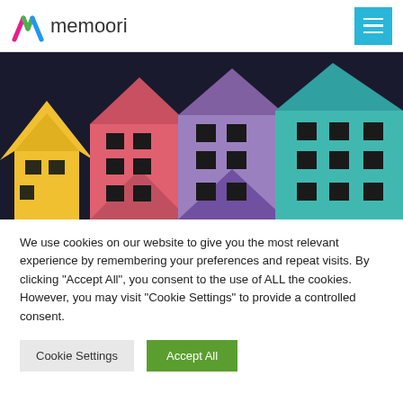memoori
[Figure (illustration): Colorful stylized house/building icons in yellow, pink/red, purple, and teal arranged side by side against a dark background]
We use cookies on our website to give you the most relevant experience by remembering your preferences and repeat visits. By clicking "Accept All", you consent to the use of ALL the cookies. However, you may visit "Cookie Settings" to provide a controlled consent.
Cookie Settings   Accept All